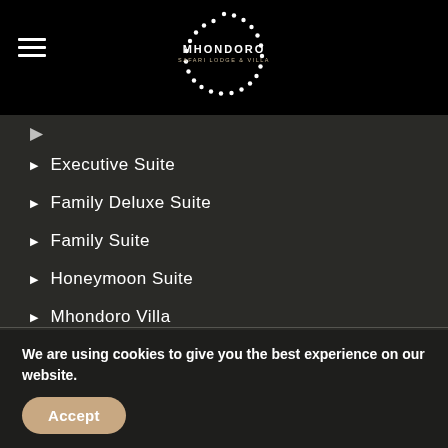[Figure (logo): Mhondoro Safari Lodge & Villa logo: circular dotted border with text MHONDORO SAFARI LODGE & VILLA inside]
Executive Suite
Family Deluxe Suite
Family Suite
Honeymoon Suite
Mhondoro Villa
EXCLUSIVE USE
Sleeps 18 (excl. Villa)
We are using cookies to give you the best experience on our website.